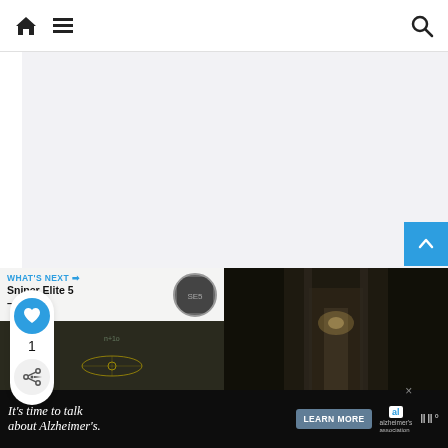Navigation bar with home, menu, and search icons
[Figure (screenshot): Light gray empty content area, main article region]
[Figure (infographic): Blue heart/like button with count 1 below it, and share button below that on the left sidebar]
[Figure (screenshot): Left card: WHAT'S NEXT arrow, Sniper Elite 5 – All... title with circular thumbnail and dark game screenshot below]
[Figure (screenshot): Right card: dark corridor/hallway game screenshot]
[Figure (screenshot): Blue back-to-top button with upward chevron, bottom right]
[Figure (infographic): Ad banner: It's time to talk about Alzheimer's. LEARN MORE button. Alzheimer's Association logo. Close button. WW logo at right.]